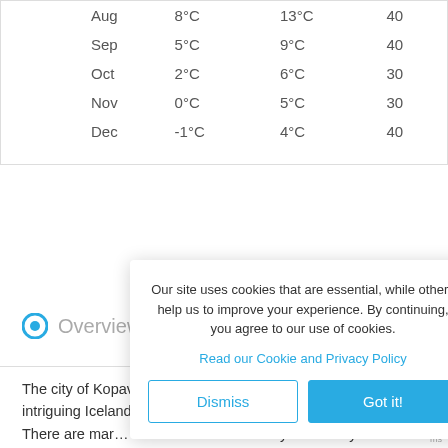| Aug | 8°C | 13°C | 40 |
| Sep | 5°C | 9°C | 40 |
| Oct | 2°C | 6°C | 30 |
| Nov | 0°C | 5°C | 30 |
| Dec | -1°C | 4°C | 40 |
Overview
The city of Kopavogur is the ideal location for a trip to intriguing Iceland. The c… greater Capita… has plenty of c… There are man… which is surro… country and al… you will find th… knowledge on… a section on orcas and other animals that are indigenous to the
Our site uses cookies that are essential, while others help us to improve your experience. By continuing, you agree to our use of cookies.
Read our Cookie and Privacy Policy
Dismiss  Got it!